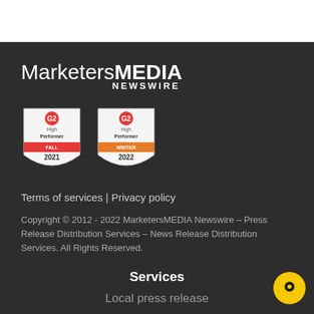[Figure (logo): MarketersMEDIA NEWSWIRE logo in white text on dark background]
[Figure (other): Two G2 High Performer badges: FALL 2021 and WINTER 2022]
Terms of services | Privacy policy
Copyright © 2012 - 2022 MarketersMEDIA Newswire – Press Release Distribution Services – News Release Distribution Services. All Rights Reserved.
Services
Local press release